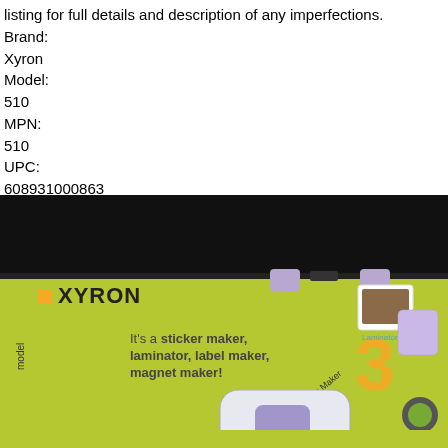listing for full details and description of any imperfections.
Brand:
Xyron
Model:
510
MPN:
510
UPC:
608931000863
[Figure (photo): Product box for Xyron 510 Combo Pack on a green background. The box shows the Xyron logo and text reading 'It's a sticker maker, laminator, label maker, magnet maker!' with the number 3 and product images on the side.]